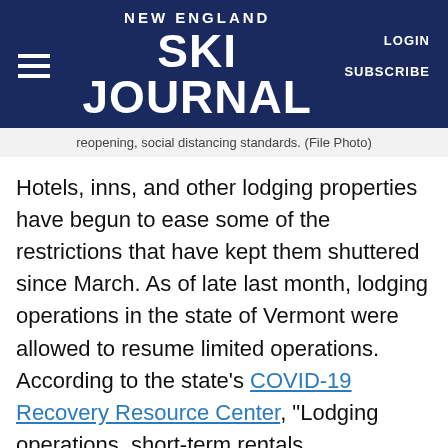NEW ENGLAND SKI JOURNAL | LOGIN | SUBSCRIBE
reopening, social distancing standards. (File Photo)
Hotels, inns, and other lodging properties have begun to ease some of the restrictions that have kept them shuttered since March. As of late last month, lodging operations in the state of Vermont were allowed to resume limited operations. According to the state’s COVID-19 Recovery Resource Center, “Lodging operations, short-term rentals, campgrounds and marinas may accept overnight reservations from n residents, those who have met the